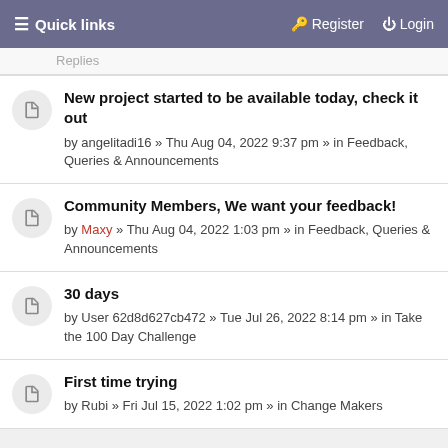≡ Quick links   🔑 Register   ⏻ Login
Replies
New project started to be available today, check it out
by angelitadi16 » Thu Aug 04, 2022 9:37 pm » in Feedback, Queries & Announcements
Community Members, We want your feedback!
by Maxy » Thu Aug 04, 2022 1:03 pm » in Feedback, Queries & Announcements
30 days
by User 62d8d627cb472 » Tue Jul 26, 2022 8:14 pm » in Take the 100 Day Challenge
First time trying
by Rubi » Fri Jul 15, 2022 1:02 pm » in Change Makers